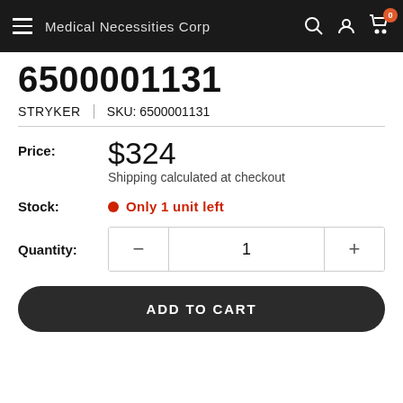Medical Necessities Corp
6500001131
STRYKER | SKU: 6500001131
Price: $324
Shipping calculated at checkout
Stock: Only 1 unit left
Quantity: 1
ADD TO CART